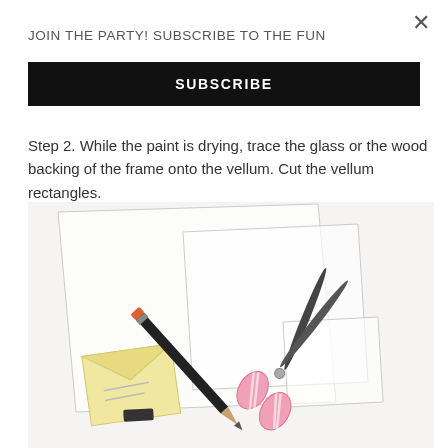JOIN THE PARTY! SUBSCRIBE TO THE FUN
SUBSCRIBE
Step 2. While the paint is drying, trace the glass or the wood backing of the frame onto the vellum. Cut the vellum rectangles.
[Figure (photo): Overhead view of craft supplies on a white surface: transparent vellum sheets, a black pencil with orange eraser tip, a yellow notepad/envelope with a small eraser, and pink-handled scissors]